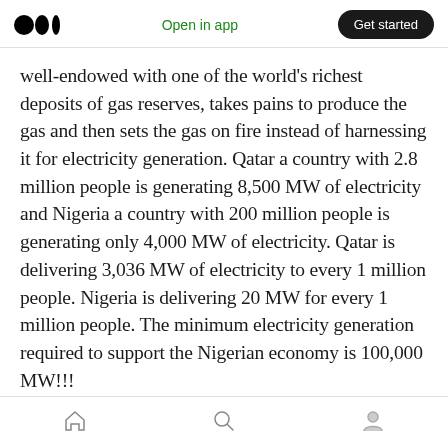Open in app  Get started
well-endowed with one of the world's richest deposits of gas reserves, takes pains to produce the gas and then sets the gas on fire instead of harnessing it for electricity generation. Qatar a country with 2.8 million people is generating 8,500 MW of electricity and Nigeria a country with 200 million people is generating only 4,000 MW of electricity. Qatar is delivering 3,036 MW of electricity to every 1 million people. Nigeria is delivering 20 MW for every 1 million people. The minimum electricity generation required to support the Nigerian economy is 100,000 MW!!!
home  search  profile